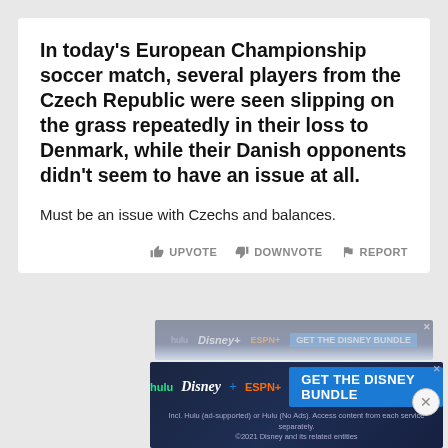In today's European Championship soccer match, several players from the Czech Republic were seen slipping on the grass repeatedly in their loss to Denmark, while their Danish opponents didn't seem to have an issue at all.
Must be an issue with Czechs and balances.
[Figure (screenshot): Social media post action buttons: thumbs up UPVOTE, thumbs down DOWNVOTE, flag REPORT]
[Figure (screenshot): Disney Bundle advertisement banner showing hulu, Disney+, ESPN+ logos with GET THE DISNEY BUNDLE call to action and fine print about Hulu ad-supported or no ads plans.]